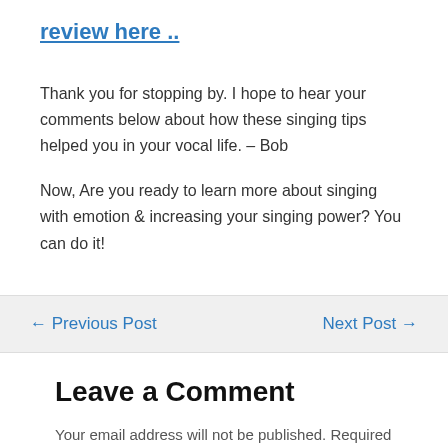review here ..
Thank you for stopping by. I hope to hear your comments below about how these singing tips helped you in your vocal life. – Bob
Now, Are you ready to learn more about singing with emotion & increasing your singing power? You can do it!
← Previous Post
Next Post →
Leave a Comment
Your email address will not be published. Required fields are marked *